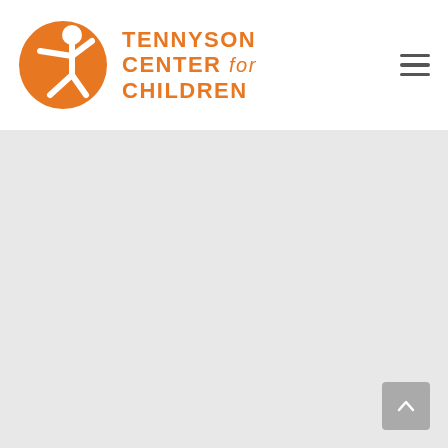[Figure (logo): Tennyson Center for Children logo: orange circle with stylized child figure, beside orange bold text reading TENNYSON CENTER for CHILDREN]
[Figure (other): Hamburger menu icon: three horizontal dark gray lines]
[Figure (other): Light gray content area background (empty)]
[Figure (other): Gray scroll-to-top button with upward chevron arrow in bottom right corner]